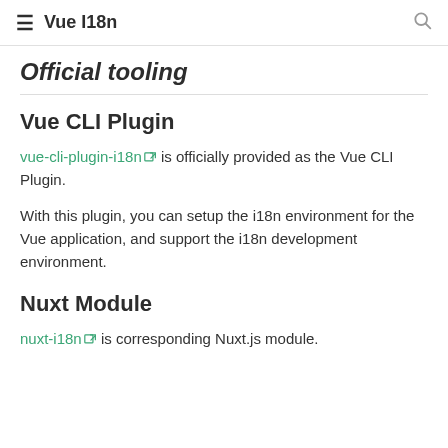Vue I18n
Official tooling
Vue CLI Plugin
vue-cli-plugin-i18n is officially provided as the Vue CLI Plugin.
With this plugin, you can setup the i18n environment for the Vue application, and support the i18n development environment.
Nuxt Module
nuxt-i18n is corresponding Nuxt.js module.